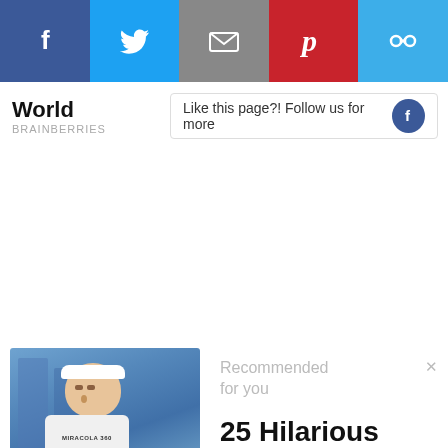[Figure (screenshot): Social media share bar with Facebook (blue), Twitter (blue), Email (gray), Pinterest (red), and link (light blue) buttons]
World
BRAINBERRIES
Like this page?! Follow us for more
[Figure (screenshot): YouTube comment section screenshot showing a video thumbnail of a person wearing a white headband and MIRACOLA 360 shirt, with comment: 'Dude looks like a discounted Adam Sandler with Kevin Hart's height.' 1.1k likes, 53 REPLIES]
Recommended for you
25 Hilarious Times Peop...
my-time.co